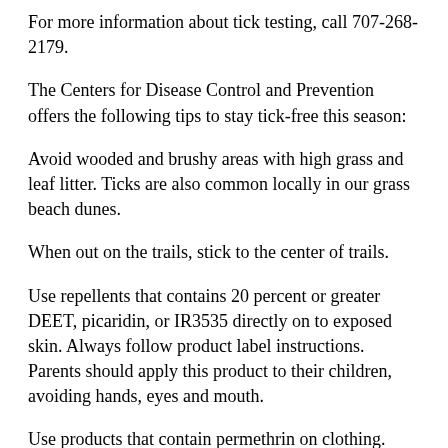For more information about tick testing, call 707-268-2179.
The Centers for Disease Control and Prevention offers the following tips to stay tick-free this season:
Avoid wooded and brushy areas with high grass and leaf litter. Ticks are also common locally in our grass beach dunes.
When out on the trails, stick to the center of trails.
Use repellents that contains 20 percent or greater DEET, picaridin, or IR3535 directly on to exposed skin. Always follow product label instructions. Parents should apply this product to their children, avoiding hands, eyes and mouth.
Use products that contain permethrin on clothing.